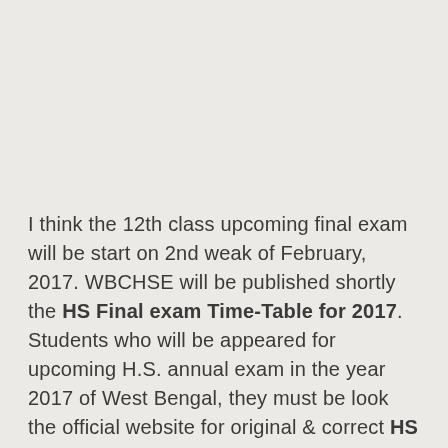I think the 12th class upcoming final exam will be start on 2nd weak of February, 2017. WBCHSE will be published shortly the HS Final exam Time-Table for 2017. Students who will be appeared for upcoming H.S. annual exam in the year 2017 of West Bengal, they must be look the official website for original & correct HS final exam schedule for 2017 as pdf. Candidates you can find our website for updated exam schedule for upcoming 12th class annual exam for 2017. Higher Secondary 2016 final Examination was started on 15th February, 2016 and all written exam